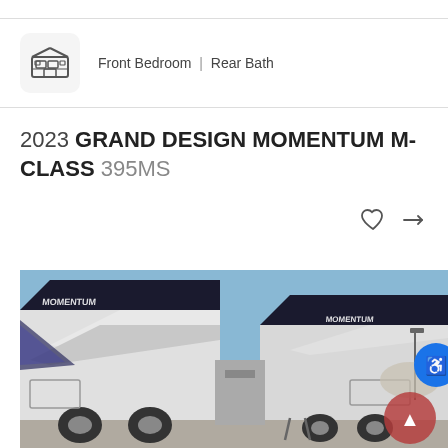Front Bedroom | Rear Bath
2023 GRAND DESIGN MOMENTUM M-CLASS 395MS
[Figure (photo): Exterior photo of 2023 Grand Design Momentum M-Class 395MS fifth-wheel RVs parked in a lot under a blue sky, showing two units side by side with distinctive black and white aerodynamic styling.]